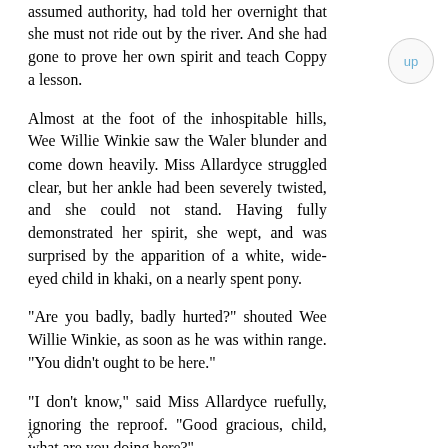assumed authority, had told her overnight that she must not ride out by the river. And she had gone to prove her own spirit and teach Coppy a lesson.
Almost at the foot of the inhospitable hills, Wee Willie Winkie saw the Waler blunder and come down heavily. Miss Allardyce struggled clear, but her ankle had been severely twisted, and she could not stand. Having fully demonstrated her spirit, she wept, and was surprised by the apparition of a white, wide-eyed child in khaki, on a nearly spent pony.
"Are you badly, badly hurted?" shouted Wee Willie Winkie, as soon as he was within range. "You didn't ought to be here."
"I don't know," said Miss Allardyce ruefully, ignoring the reproof. "Good gracious, child, what are you doing here?"
"I — — . — ."
x